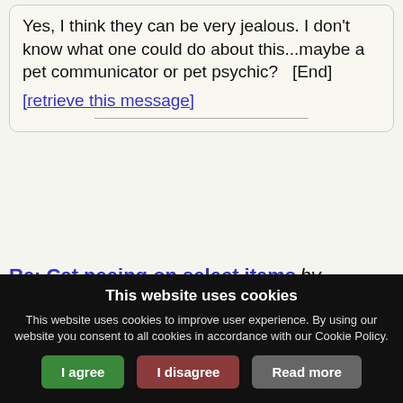Yes, I think they can be very jealous. I don't know what one could do about this...maybe a pet communicator or pet psychic?   [End] [retrieve this message]
Re: Cat peeing on select items by miakoda  15 years ago  1,709  Pets/Animals
I have a similar situation. Cairo has peed on my bed, his bed, and anything left on the floor...carpets, clothes, towels (I'm now very tidy and pick things up quick!) and once on my purse. It doesn't happen very often, and
This website uses cookies
This website uses cookies to improve user experience. By using our website you consent to all cookies in accordance with our Cookie Policy.
I agree  I disagree  Read more